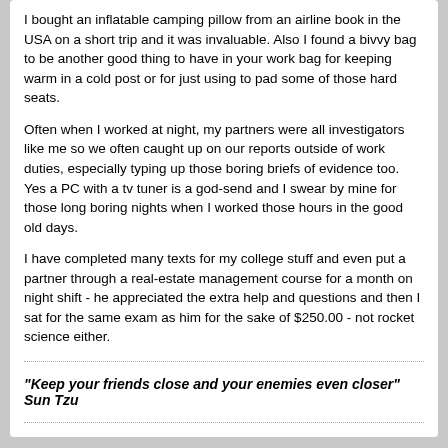I bought an inflatable camping pillow from an airline book in the USA on a short trip and it was invaluable. Also I found a bivvy bag to be another good thing to have in your work bag for keeping warm in a cold post or for just using to pad some of those hard seats.
Often when I worked at night, my partners were all investigators like me so we often caught up on our reports outside of work duties, especially typing up those boring briefs of evidence too. Yes a PC with a tv tuner is a god-send and I swear by mine for those long boring nights when I worked those hours in the good old days.
I have completed many texts for my college stuff and even put a partner through a real-estate management course for a month on night shift - he appreciated the extra help and questions and then I sat for the same exam as him for the sake of $250.00 - not rocket science either.
"Keep your friends close and your enemies even closer" Sun Tzu
CorpSec
Senior Member
Join Date: Jan 2007   Posts: 1103
11-08-2007, 08:18 AM
#4
One of the brilliant and comprehensive investigations of the police that really assist in...